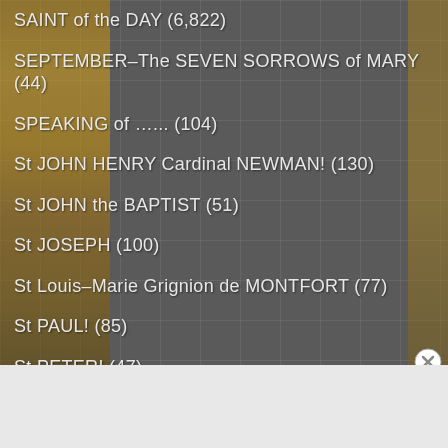SAINT of the DAY (6,822)
SEPTEMBER–The SEVEN SORROWS of MARY (44)
SPEAKING of …... (104)
St JOHN HENRY Cardinal NEWMAN! (130)
St JOHN the BAPTIST (51)
St JOSEPH (100)
St Louis–Marie Grignion de MONTFORT (77)
St PAUL! (85)
St PETER! (47)
STATIONS of the CROSS (24)
SUNDAY REFLECTIONS (111)
Advertisements